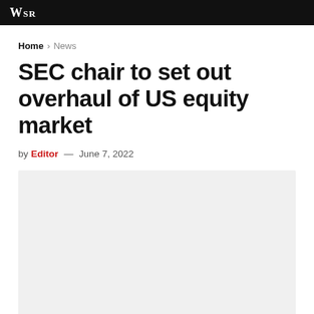WSR
Home > News
SEC chair to set out overhaul of US equity market
by Editor — June 7, 2022
[Figure (photo): Placeholder image area, light gray background]